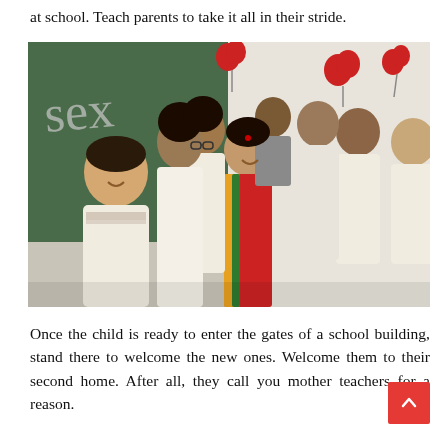at school. Teach parents to take it all in their stride.
[Figure (photo): A group photo of a teacher in a colorful saree surrounded by smiling school students in white uniforms inside a classroom with a chalkboard in the background decorated with red heart balloons.]
Once the child is ready to enter the gates of a school building, stand there to welcome the new ones. Welcome them to their second home. After all, they call you mother teachers for a reason.